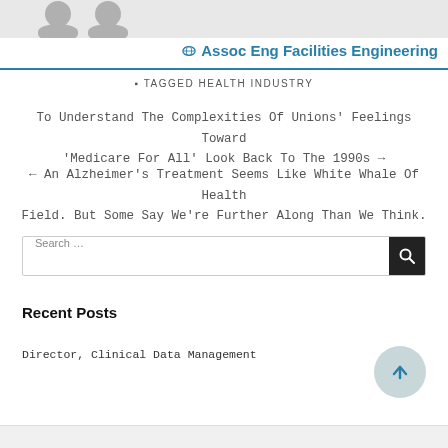[Figure (photo): Top banner with two gray avatar silhouette shapes on light gray background]
🌀 Assoc Eng Facilities Engineering
⬛ TAGGED HEALTH INDUSTRY
To Understand The Complexities Of Unions' Feelings Toward 'Medicare For All' Look Back To The 1990s →
← An Alzheimer's Treatment Seems Like White Whale Of Health Field. But Some Say We're Further Along Than We Think.
Search …
Recent Posts
Director, Clinical Data Management